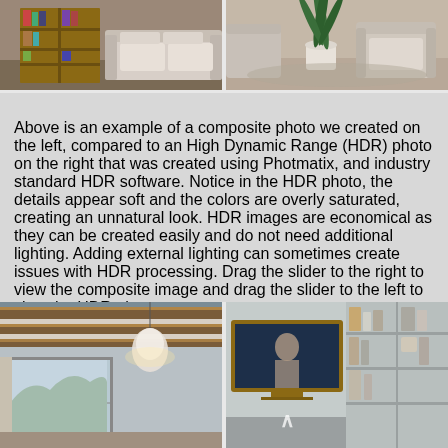[Figure (photo): Left photo: interior living room with wooden bookshelf unit and sofa — composite photo]
[Figure (photo): Right photo: interior living room with armchair and plant — HDR photo created with Photmatix]
Above is an example of a composite photo we created on the left, compared to an High Dynamic Range (HDR) photo on the right that was created using Photmatix, and industry standard HDR software. Notice in the HDR photo, the details appear soft and the colors are overly saturated, creating an unnatural look. HDR images are economical as they can be created easily and do not need additional lighting. Adding external lighting can sometimes create issues with HDR processing. Drag the slider to the right to view the composite image and drag the slider to the left to view the HDR photo.
[Figure (photo): Bottom left photo: interior room with exposed wooden beam ceiling, large windows and pendant chandelier]
[Figure (photo): Bottom right photo: interior room with built-in shelving unit and wall-mounted TV with wooden frame]